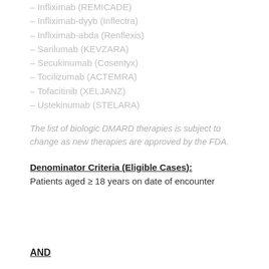Infliximab (REMICADE)
Infliximab-dyyb (Inflectra)
Infliximab-abda (Renflexis)
Sarilumab (KEVZARA)
Secukinumab (Cosentyx)
Tocilizumab (ACTEMRA)
Tofacitinib (XELJANZ)
Ustekinumab (STELARA)
The list of biologic DMARD therapies is subject to change as new therapies are approved by the FDA.
Denominator Criteria (Eligible Cases):
Patients aged ≥ 18 years on date of encounter
AND